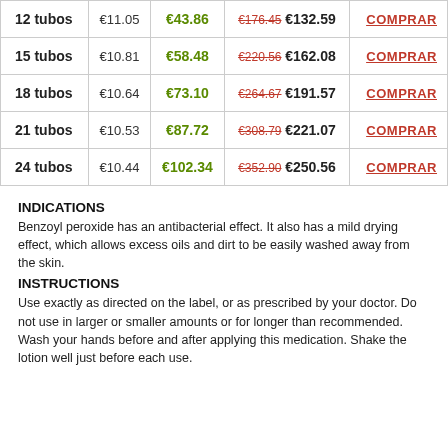|  | Per unit | Savings | Total |  |
| --- | --- | --- | --- | --- |
| 12 tubos | €11.05 | €43.86 | €176.45 €132.59 | COMPRAR |
| 15 tubos | €10.81 | €58.48 | €220.56 €162.08 | COMPRAR |
| 18 tubos | €10.64 | €73.10 | €264.67 €191.57 | COMPRAR |
| 21 tubos | €10.53 | €87.72 | €308.79 €221.07 | COMPRAR |
| 24 tubos | €10.44 | €102.34 | €352.90 €250.56 | COMPRAR |
INDICATIONS
Benzoyl peroxide has an antibacterial effect. It also has a mild drying effect, which allows excess oils and dirt to be easily washed away from the skin.
INSTRUCTIONS
Use exactly as directed on the label, or as prescribed by your doctor. Do not use in larger or smaller amounts or for longer than recommended.
Wash your hands before and after applying this medication. Shake the lotion well just before each use.